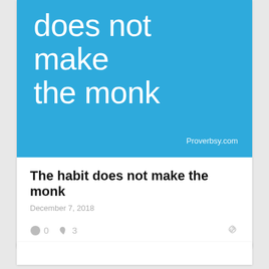[Figure (illustration): Blue background image with large white text reading 'does not make the monk' and 'Proverbsy.com' credit in lower right]
The habit does not make the monk
December 7, 2018
0  3